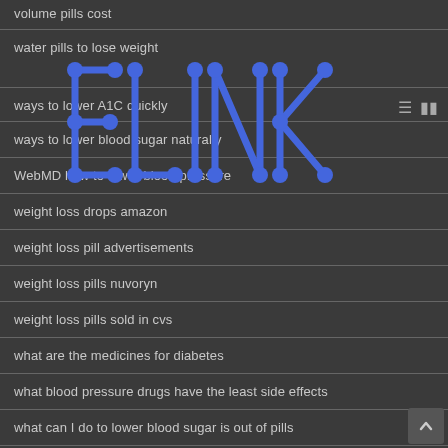volume pills cost
water pills to lose weight
ways to lower A1C quickly
ways to lower blood sugar naturally
WebMD how to lower blood pressure
weight loss drops amazon
weight loss pill advertisements
weight loss pills nuvoryn
weight loss pills sold in cvs
what are the medicines for diabetes
what blood pressure drugs have the least side effects
what can I do to lower blood sugar is out of pills
what cholesterol level is high
[Figure (logo): ELINK logo in blue outlined blocky letters overlaid on the list]